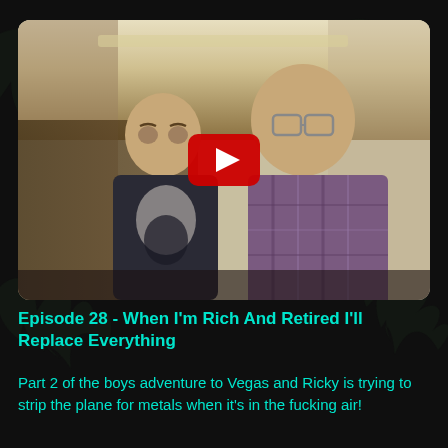[Figure (screenshot): Video thumbnail showing two men sitting inside a private jet. One man on the left wears a graphic t-shirt and looks sideways. The man on the right wears a plaid shirt and glasses and looks at the camera. A red YouTube play button overlay is in the center of the image.]
Episode 28 - When I'm Rich And Retired I'll Replace Everything
Part 2 of the boys adventure to Vegas and Ricky is trying to strip the plane for metals when it's in the fucking air!